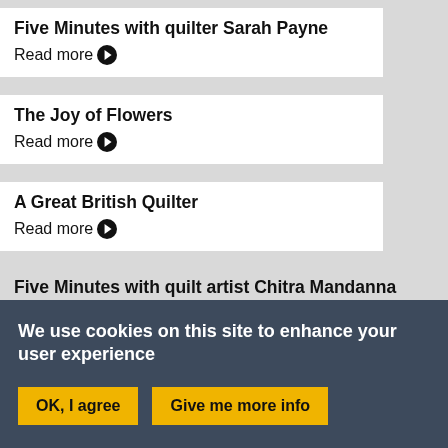Five Minutes with quilter Sarah Payne
Read more ❯
The Joy of Flowers
Read more ❯
A Great British Quilter
Read more ❯
Five Minutes with quilt artist Chitra Mandanna
We use cookies on this site to enhance your user experience
OK, I agree  |  Give me more info